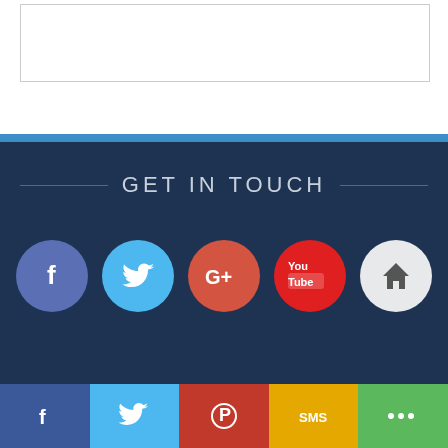[Figure (screenshot): Top white section with a bordered content box]
GET IN TOUCH
[Figure (infographic): Row of social media circular icons: Facebook, Twitter, Google+, YouTube, Home]
[Figure (infographic): Bottom share bar with Facebook, Twitter, Pinterest, SMS, and share buttons]